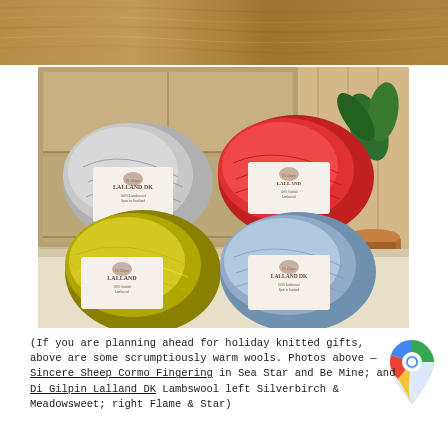[Figure (photo): Close-up of wooden surface with visible grain, warm brown tones]
[Figure (photo): Four balls of yarn arranged in a 2x2 grid on a wooden shelf with a plant and wooden pot: top-left gray Di Gilpin Lalland DK, top-right red Di Gilpin with Scottish Lambswool label, bottom-left yellow-green Di Gilpin Lalland 100% Scottish Lambswool, bottom-right light blue Di Gilpin Lalland DK 100% Lambswool Spun in Scotland]
(If you are planning ahead for holiday knitted gifts, above are some scrumptiously warm wools. Photos above — Sincere Sheep Cormo Fingering in Sea Star and Be Mine; and Di Gilpin Lalland DK Lambswool left Silverbirch & Meadowsweet; right Flame & Star)